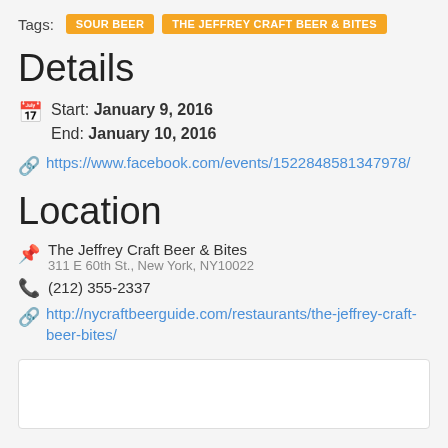Tags: SOUR BEER | THE JEFFREY CRAFT BEER & BITES
Details
Start: January 9, 2016
End: January 10, 2016
https://www.facebook.com/events/1522848581347978/
Location
The Jeffrey Craft Beer & Bites
311 E 60th St., New York, NY10022
(212) 355-2337
http://nycraftbeerguide.com/restaurants/the-jeffrey-craft-beer-bites/
[Figure (other): Map placeholder box (white rectangle with border)]